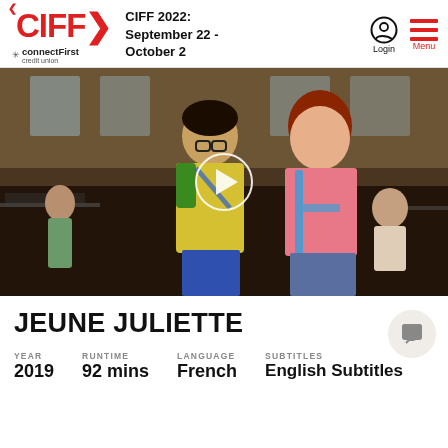CIFF 2022: September 22 - October 2
[Figure (screenshot): Film still showing two children standing in what appears to be a school gymnasium or cafeteria with chess boards visible. A boy in a yellow and green shirt stands next to a girl in a pink shirt with red hair. A white play button circle overlay is in the center.]
JEUNE JULIETTE
| YEAR | RUNTIME | LANGUAGE | SUBTITLES |
| --- | --- | --- | --- |
| 2019 | 92 mins | French | English Subtitles |